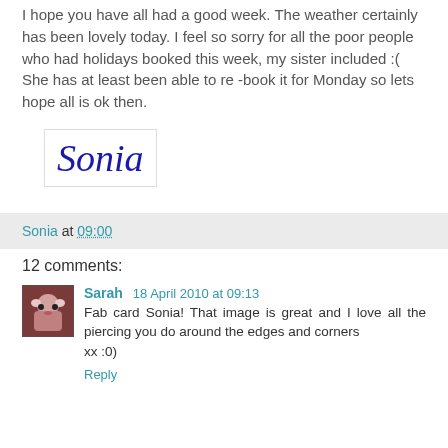I hope you have all had a good week. The weather certainly has been lovely today. I feel so sorry for all the poor people who had holidays booked this week, my sister included :( She has at least been able to re -book it for Monday so lets hope all is ok then.
[Figure (illustration): Cursive signature reading 'Sonia' in blue ink on white background with border]
Sonia at 09:00
12 comments:
Sarah  18 April 2010 at 09:13
Fab card Sonia! That image is great and I love all the piercing you do around the edges and corners
xx :0)
Reply